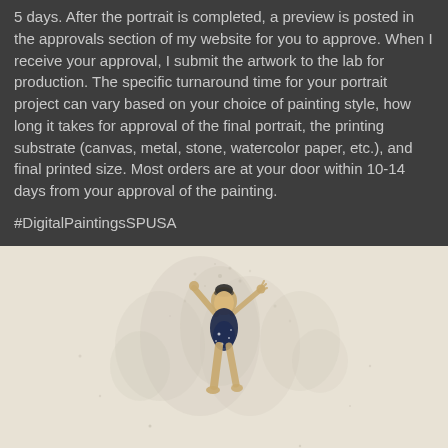5 days. After the portrait is completed, a preview is posted in the approvals section of my website for you to approve.  When I receive your approval, I submit the artwork to the lab for production. The specific turnaround time for your portrait project can vary based on your choice of painting style, how long it takes for approval of the final portrait, the printing substrate (canvas, metal, stone, watercolor paper, etc.), and final printed size.  Most orders are at your door within 10-14 days from your approval of the painting.
#DigitalPaintingsSPUSA
[Figure (photo): A digital watercolor painting of a female gymnast in a dark navy leotard with arms raised, set against a light beige/cream textured background with watercolor splash effects]